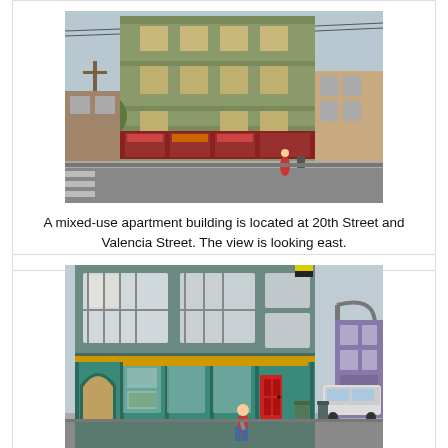[Figure (photo): Street-level photo of a green mixed-use apartment building located at the corner of 20th Street and Valencia Street in San Francisco. The building is 4 stories, with commercial storefronts at ground level. View is looking east.]
A mixed-use apartment building is located at 20th Street and Valencia Street. The view is looking east.
[Figure (photo): Street-level photo of a teal/green mixed-use building with decorative storefront featuring large display windows and a red door. A pedestrian is visible on the sidewalk. A street lamp and traffic light are visible on the right side.]